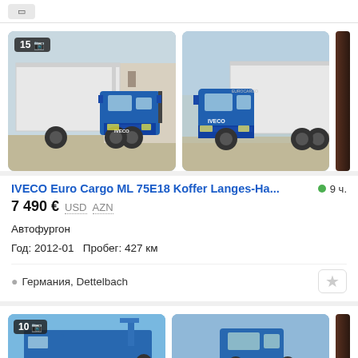[Figure (photo): Top navigation bar with a button element]
[Figure (photo): Two photos of a blue IVECO Euro Cargo ML 75E18 box truck. Left photo shows the truck from side-front angle with white cargo box. Right photo shows front-left angle. A dark partial image strip is visible on the far right. Badge '15' with camera icon on left image.]
IVECO Euro Cargo ML 75E18 Koffer Langes-Ha...
9 ч.
7 490 € USD AZN
Автофургон
Год: 2012-01   Пробег: 427 км
Германия, Dettelbach
[Figure (photo): Bottom partial listing card showing two truck photos. Left image shows a blue truck with loading equipment (badge '10'). Right image shows front of another blue truck.]